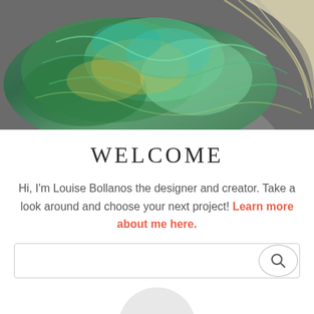[Figure (photo): Close-up photo of a person wearing a green/teal knitted or crocheted shawl/scarf. The yarn is multicolored in shades of green, teal, and gold. Blonde hair is visible on the right side.]
WELCOME
Hi, I'm Louise Bollanos the designer and creator. Take a look around and choose your next project! Learn more about me here.
[Figure (screenshot): Search input box with a circular search button on the right side]